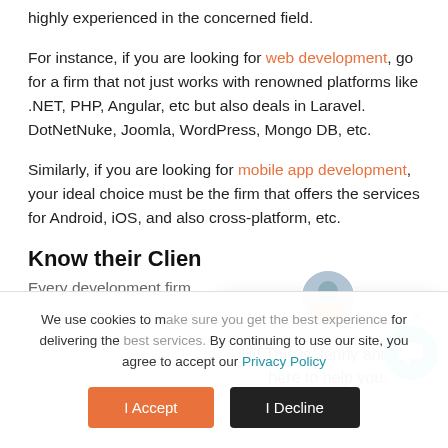highly experienced in the concerned field.
For instance, if you are looking for web development, go for a firm that not just works with renowned platforms like .NET, PHP, Angular, etc but also deals in Laravel. DotNetNuke, Joomla, WordPress, Mongo DB, etc.
Similarly, if you are looking for mobile app development, your ideal choice must be the firm that offers the services for Android, iOS, and also cross-platform, etc.
Know their Clien
Every development firm...
We use cookies to make sure you get the best experience for delivering the ... continuing to use our site, you agree to accept our Privacy Policy
Hi! This is Jenny and I'm here to help you.